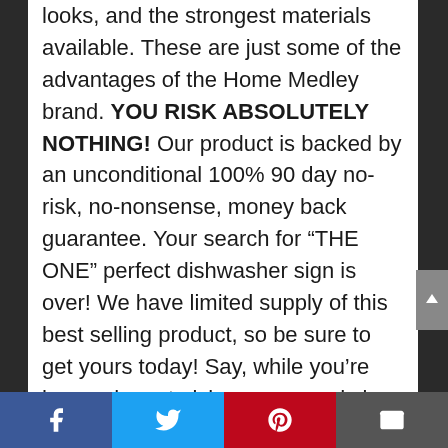looks, and the strongest materials available. These are just some of the advantages of the Home Medley brand. YOU RISK ABSOLUTELY NOTHING! Our product is backed by an unconditional 100% 90 day no-risk, no-nonsense, money back guarantee. Your search for “THE ONE” perfect dishwasher sign is over! We have limited supply of this best selling product, so be sure to get yours today! Say, while you’re here, why not pick up a second sign to give as a gift to someone special? Who wouldn’t love to receive such a quality, unique item that will add a touch of class to any kitchen? They will think you paid much more than you actually did! It’s the
Facebook | Twitter | Pinterest | Email